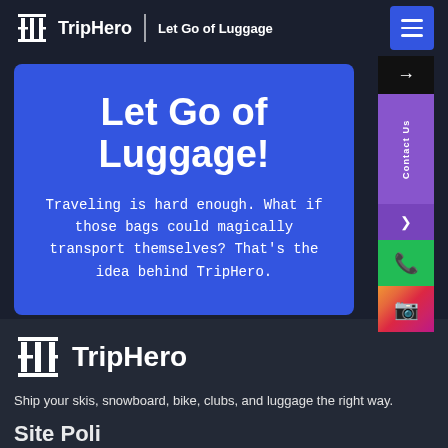TripHero | Let Go of Luggage
Let Go of Luggage!
Traveling is hard enough. What if those bags could magically transport themselves? That's the idea behind TripHero.
[Figure (logo): TripHero logo with brand name]
Ship your skis, snowboard, bike, clubs, and luggage the right way.
Site Poli...